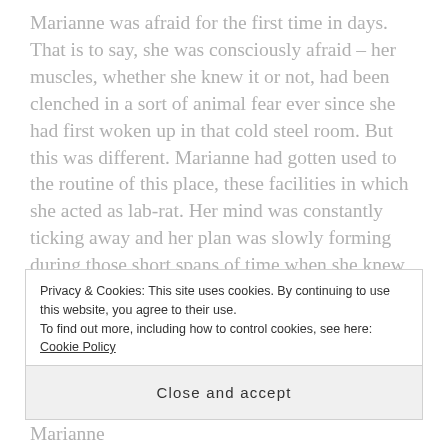Marianne was afraid for the first time in days. That is to say, she was consciously afraid – her muscles, whether she knew it or not, had been clenched in a sort of animal fear ever since she had first woken up in that cold steel room. But this was different. Marianne had gotten used to the routine of this place, these facilities in which she acted as lab-rat. Her mind was constantly ticking away and her plan was slowly forming during those short spans of time when she knew she wasn't monitored as closely.
She was unprepared, therefore, for what was
Privacy & Cookies: This site uses cookies. By continuing to use this website, you agree to their use.
To find out more, including how to control cookies, see here: Cookie Policy
Close and accept
promoted from Novice apparently] #824. Marianne